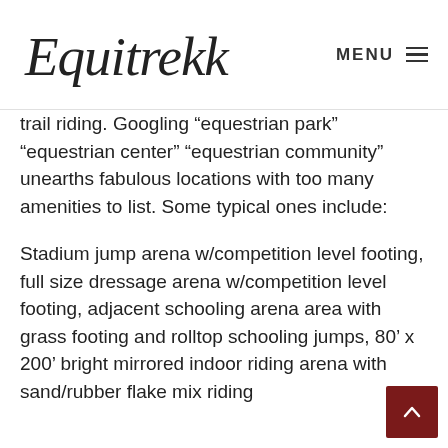Equitrekking  MENU
trail riding. Googling "equestrian park" "equestrian center" "equestrian community" unearths fabulous locations with too many amenities to list. Some typical ones include:
Stadium jump arena w/competition level footing, full size dressage arena w/competition level footing, adjacent schooling arena area with grass footing and rolltop schooling jumps, 80' x 200' bright mirrored indoor riding arena with sand/rubber flake mix riding